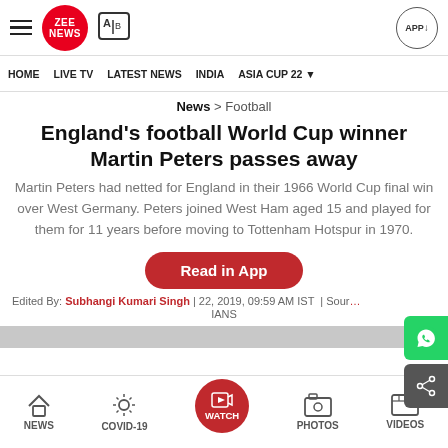Zee News
HOME | LIVE TV | LATEST NEWS | INDIA | ASIA CUP 22
News > Football
England's football World Cup winner Martin Peters passes away
Martin Peters had netted for England in their 1966 World Cup final win over West Germany. Peters joined West Ham aged 15 and played for them for 11 years before moving to Tottenham Hotspur in 1970.
Edited By: Subhangi Kumari Singh | 22, 2019, 09:59 AM IST | Source: IANS
NEWS | COVID-19 | WATCH | PHOTOS | VIDEOS